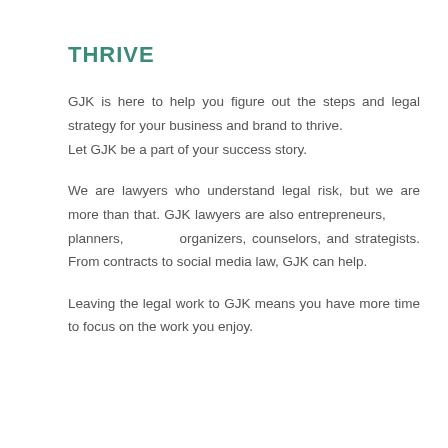THRIVE
GJK is here to help you figure out the steps and legal strategy for your business and brand to thrive.
Let GJK be a part of your success story.
We are lawyers who understand legal risk, but we are more than that. GJK lawyers are also entrepreneurs, planners, organizers, counselors, and strategists. From contracts to social media law, GJK can help.
Leaving the legal work to GJK means you have more time to focus on the work you enjoy.